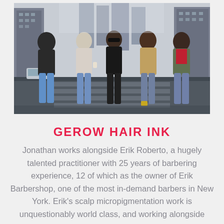[Figure (photo): Five men walking together on a New York City street crossing, wearing casual winter clothing including jeans, jackets, and hoodies.]
GEROW HAIR INK
Jonathan works alongside Erik Roberto, a hugely talented practitioner with 25 years of barbering experience, 12 of which as the owner of Erik Barbershop, one of the most in-demand barbers in New York. Erik's scalp micropigmentation work is unquestionably world class, and working alongside